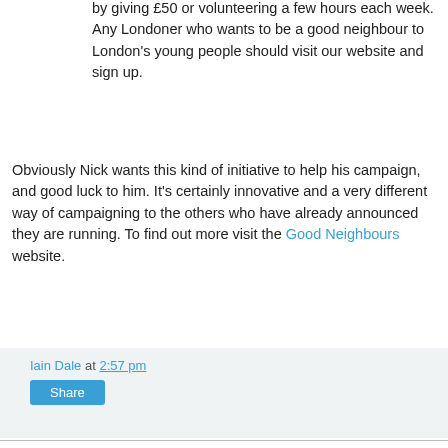by giving £50 or volunteering a few hours each week. Any Londoner who wants to be a good neighbour to London's young people should visit our website and sign up.
Obviously Nick wants this kind of initiative to help his campaign, and good luck to him. It's certainly innovative and a very different way of campaigning to the others who have already announced they are running. To find out more visit the Good Neighbours website.
Iain Dale at 2:57 pm
Share
16 comments:
Mog June 18, 2007 3:46 pm
Boles is obviously a political genius as well as being a superb front running candidate in the Mayoral Race.